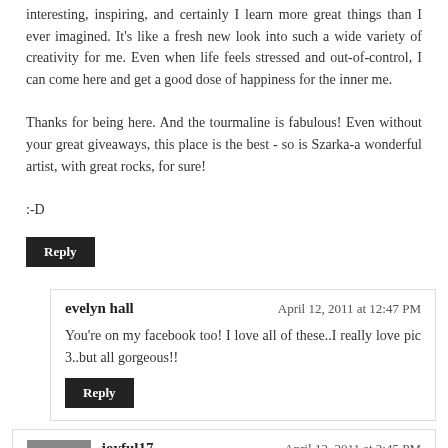interesting, inspiring, and certainly I learn more great things than I ever imagined. It's like a fresh new look into such a wide variety of creativity for me. Even when life feels stressed and out-of-control, I can come here and get a good dose of happiness for the inner me.

Thanks for being here. And the tourmaline is fabulous! Even without your great giveaways, this place is the best - so is Szarka-a wonderful artist, with great rocks, for sure!

:-D
Reply
evelyn hall
April 12, 2011 at 12:47 PM
You're on my facebook too! I love all of these..I really love pic 3..but all gorgeous!!
Reply
joyful17
April 12, 2011 at 2:45 PM
Szarka is an amazingly talented lady...who shares her